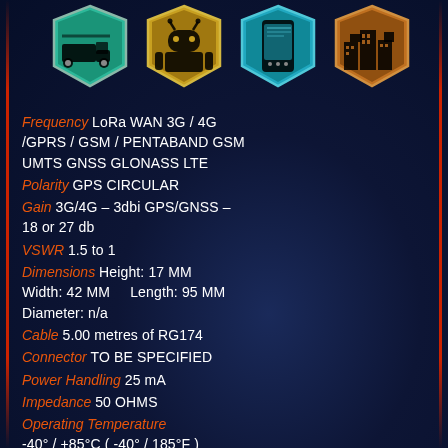[Figure (illustration): Four application icons in hexagonal/shield badge frames: vehicle/truck (teal), robot/android (yellow-gold), mobile phone (cyan-teal), building/city (bronze-orange)]
Frequency LoRa WAN 3G / 4G /GPRS / GSM / PENTABAND GSM UMTS GNSS GLONASS LTE
Polarity GPS CIRCULAR
Gain 3G/4G – 3dbi GPS/GNSS – 18 or 27 db
VSWR 1.5 to 1
Dimensions Height: 17 MM Width: 42 MM    Length: 95 MM Diameter: n/a
Cable 5.00 metres of RG174
Connector TO BE SPECIFIED
Power Handling 25 mA
Impedance 50 OHMS
Operating Temperature -40° / +85°C ( -40° / 185°F )
Protection IP67